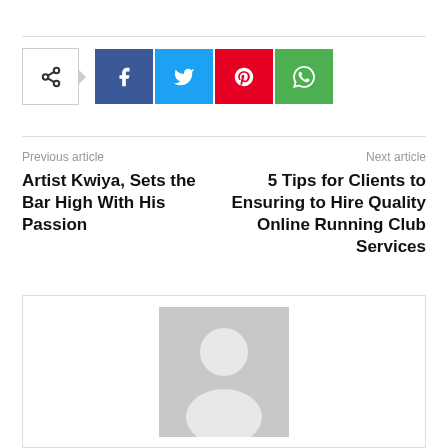[Figure (infographic): Social share buttons row: share icon button, Facebook (f), Twitter (bird), Pinterest (P), WhatsApp (phone icon)]
Previous article
Artist Kwiya, Sets the Bar High With His Passion
Next article
5 Tips for Clients to Ensuring to Hire Quality Online Running Club Services
[Figure (photo): Gray placeholder avatar image showing a generic person silhouette on a gray background inside a bordered box]